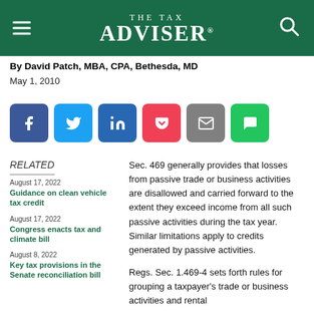THE TAX ADVISER
By David Patch, MBA, CPA, Bethesda, MD
May 1, 2010
[Figure (other): Social share buttons: Facebook, Twitter, LinkedIn, Pocket, Email, SMS]
RELATED
August 17, 2022
Guidance on clean vehicle tax credit
August 17, 2022
Congress enacts tax and climate bill
August 8, 2022
Key tax provisions in the Senate reconciliation bill
Sec. 469 generally provides that losses from passive trade or business activities are disallowed and carried forward to the extent they exceed income from all such passive activities during the tax year. Similar limitations apply to credits generated by passive activities.
Regs. Sec. 1.469-4 sets forth rules for grouping a taxpayer's trade or business activities and rental